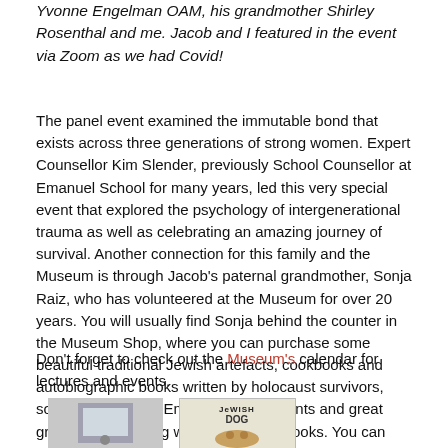Yvonne Engelman OAM, his grandmother Shirley Rosenthal and me. Jacob and I featured in the event via Zoom as we had Covid!
The panel event examined the immutable bond that exists across three generations of strong women. Expert Counsellor Kim Slender, previously School Counsellor at Emanuel School for many years, led this very special event that explored the psychology of intergenerational trauma as well as celebrating an amazing journey of survival. Another connection for this family and the Museum is through Jacob's paternal grandmother, Sonja Raiz, who has volunteered at the Museum for over 20 years. You will usually find Sonja behind the counter in the Museum Shop, where you can purchase some beautiful traditional Jewish artefacts, cookbooks and autobiographic books written by holocaust survivors, some of whom are Emanuel grandparents and great grandparents, along with many other books. You can even find a book titled How to Raise a Jewish Dog.
Don't forget to check out the Museum's calendar for lectures and events.
[Figure (photo): Two book cover images side by side at the bottom of the page. Left image appears to be a photo. Right image shows a book cover with the text JEWISH DOG.]